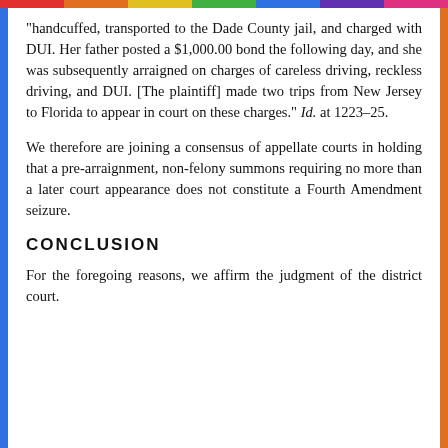"handcuffed, transported to the Dade County jail, and charged with DUI. Her father posted a $1,000.00 bond the following day, and she was subsequently arraigned on charges of careless driving, reckless driving, and DUI. [The plaintiff] made two trips from New Jersey to Florida to appear in court on these charges." Id. at 1223-25.
We therefore are joining a consensus of appellate courts in holding that a pre-arraignment, non-felony summons requiring no more than a later court appearance does not constitute a Fourth Amendment seizure.
CONCLUSION
For the foregoing reasons, we affirm the judgment of the district court.